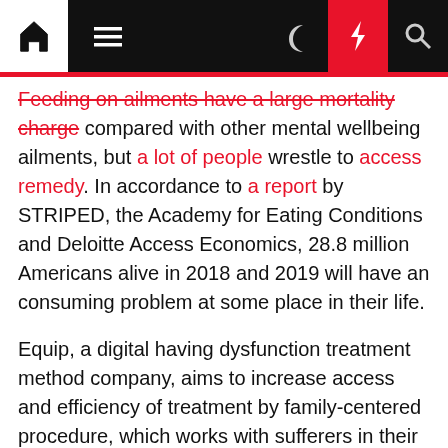Navigation bar with home, menu, moon, lightning, and search icons
Feeding on ailments have a large mortality charge compared with other mental wellbeing ailments, but a lot of people wrestle to access remedy. In accordance to a report by STRIPED, the Academy for Eating Conditions and Deloitte Access Economics, 28.8 million Americans alive in 2018 and 2019 will have an consuming problem at some place in their life.
Equip, a digital having dysfunction treatment method company, aims to increase access and efficiency of treatment by family-centered procedure, which works with sufferers in their houses along with their spouse and children associates throughout restoration. Started in 2019, the startup declared it experienced raised $58 million in Series B funding previously this calendar year.